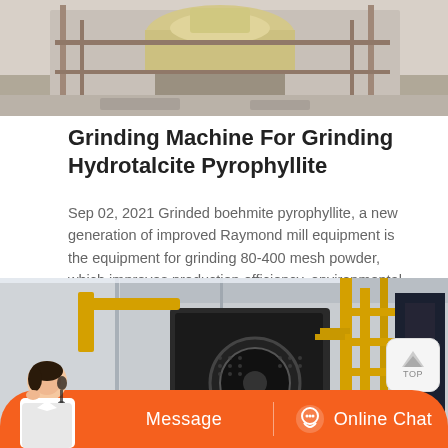[Figure (photo): Industrial grinding machine/cone crusher photographed outdoors in a dusty industrial setting, yellow and white equipment visible]
Grinding Machine For Grinding Hydrotalcite Pyrophyllite
Sep 02, 2021 Grinded boehmite pyrophyllite, a new generation of improved Raymond mill equipment is the equipment for grinding 80-400 mesh powder, which improves production efficiency, environmental protection and noise reduction, more advanced grinding technology and higher work efficiency.
[Figure (photo): Interior of industrial facility with large yellow and black grinding/milling machinery and steel framework structure]
[Figure (other): Orange chat bar with customer service avatar, Message button and Online Chat button]